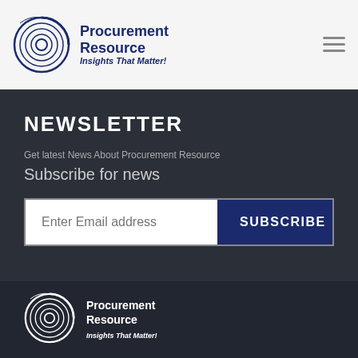[Figure (logo): Procurement Resource circular logo with concentric rings]
Procurement Resource
Insights That Matter!
NEWSLETTER
Get latest News About Procurement Resource
Subscribe for news
Enter Email address
SUBSCRIBE
[Figure (logo): Procurement Resource circular logo in white lines on dark background]
Procurement Resource
Insights That Matter!